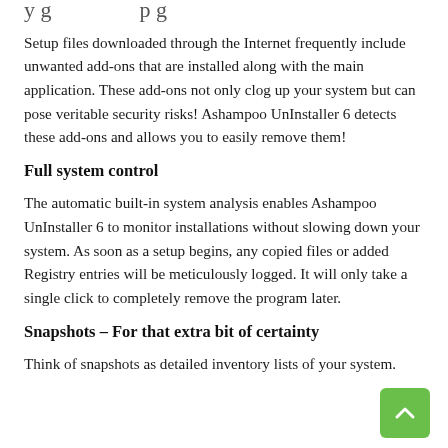y g … p g
Setup files downloaded through the Internet frequently include unwanted add-ons that are installed along with the main application. These add-ons not only clog up your system but can pose veritable security risks! Ashampoo UnInstaller 6 detects these add-ons and allows you to easily remove them!
Full system control
The automatic built-in system analysis enables Ashampoo UnInstaller 6 to monitor installations without slowing down your system. As soon as a setup begins, any copied files or added Registry entries will be meticulously logged. It will only take a single click to completely remove the program later.
Snapshots – For that extra bit of certainty
Think of snapshots as detailed inventory lists of your system.